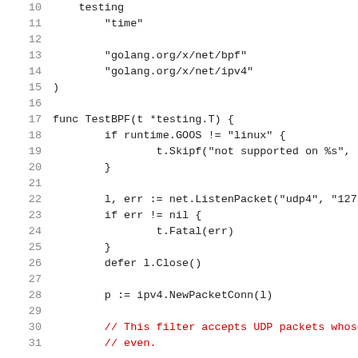Code listing lines 10-31, Go source file with BPF/ipv4 test function
10:     testing
11:         "time"
12:     (empty)
13:         "golang.org/x/net/bpf"
14:         "golang.org/x/net/ipv4"
15: )
16: (empty)
17: func TestBPF(t *testing.T) {
18:         if runtime.GOOS != "linux" {
19:                 t.Skipf("not supported on %s",
20:         }
21: (empty)
22:         l, err := net.ListenPacket("udp4", "127
23:         if err != nil {
24:                 t.Fatal(err)
25:         }
26:         defer l.Close()
27: (empty)
28:         p := ipv4.NewPacketConn(l)
29: (empty)
30:         // This filter accepts UDP packets whose
31:         // even.